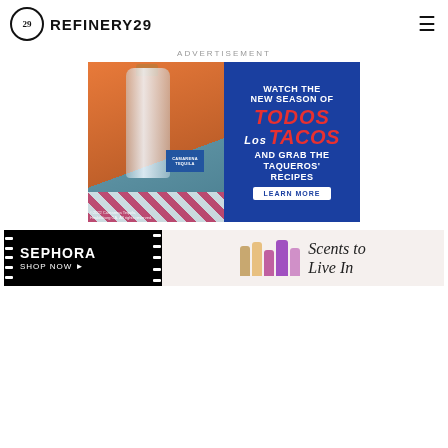REFINERY29
ADVERTISEMENT
[Figure (photo): Camarena Tequila Silver bottle advertisement split panel: left side shows the tequila bottle on a checkered tablecloth with orange background and a cocktail, right side on blue background reads 'WATCH THE NEW SEASON OF TODOS LOS TACOS AND GRAB THE TAQUEROS' RECIPES' with a 'LEARN MORE' button. Copyright 2022 Camarena Tequila, Healdsburg CA. All rights reserved.]
[Figure (photo): Sephora banner advertisement: black left panel with SEPHORA SHOP NOW text, right panel with perfume bottles and 'Scents to Live In' tagline on light background.]